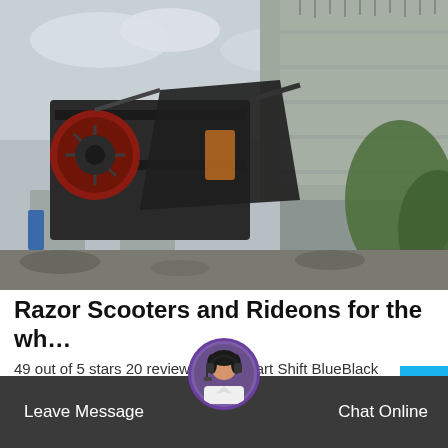[Figure (photo): Industrial jaw crusher / rock crushing machine on a concrete construction site with a large concrete block building in the background, overcast sky, green vegetation on right side]
Razor Scooters and Rideons for the wh…
49 out of 5 stars 20 reviews Crazy Cart Shift BlueBlack Ages 6 and up LOW setting 8 and u
[Figure (other): Scroll to top chevron button (blue background with white up arrow)]
[Figure (photo): Customer support agent avatar: woman wearing headset]
Leave Message   Chat Online